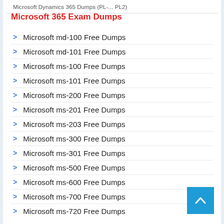Microsoft Dynamics 365 Dumps (PL-... PL2)
Microsoft 365 Exam Dumps
Microsoft md-100 Free Dumps
Microsoft md-101 Free Dumps
Microsoft ms-100 Free Dumps
Microsoft ms-101 Free Dumps
Microsoft ms-200 Free Dumps
Microsoft ms-201 Free Dumps
Microsoft ms-203 Free Dumps
Microsoft ms-300 Free Dumps
Microsoft ms-301 Free Dumps
Microsoft ms-500 Free Dumps
Microsoft ms-600 Free Dumps
Microsoft ms-700 Free Dumps
Microsoft ms-720 Free Dumps